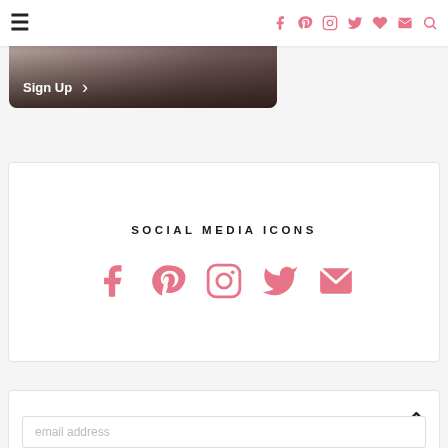Navigation bar with hamburger menu and social media icons (Facebook, Pinterest, Instagram, Twitter, heart, email, search)
[Figure (screenshot): Top card with dark photo background showing Sign Up button with arrow]
SOCIAL MEDIA ICONS
[Figure (infographic): Row of 5 pink social media icons: Facebook, Pinterest, Instagram, Twitter, Email]
email address